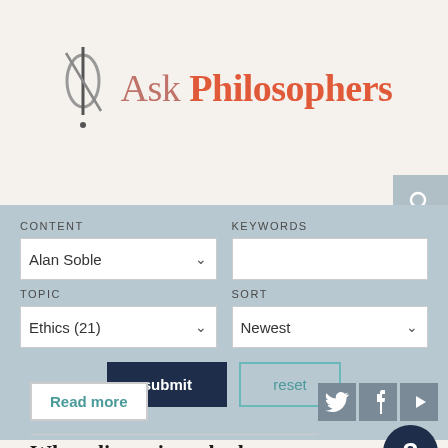Ask Philosophers
[Figure (screenshot): Search/filter form with CONTENT dropdown (Alan Soble), KEYWORDS text input, TOPIC dropdown (Ethics (21)), SORT dropdown (Newest), submit and reset buttons]
Read more
[Figure (infographic): Social media icons: Twitter, Facebook, Video play button, and a question mark circle icon]
When discussing whether